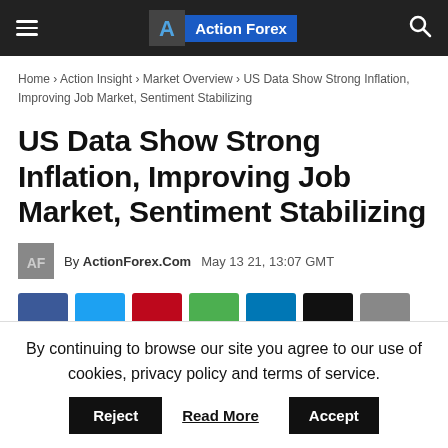Action Forex
Home › Action Insight › Market Overview › US Data Show Strong Inflation, Improving Job Market, Sentiment Stabilizing
US Data Show Strong Inflation, Improving Job Market, Sentiment Stabilizing
By ActionForex.Com   May 13 21, 13:07 GMT
[Figure (other): Social media share buttons row: Facebook, Twitter, Pinterest, WhatsApp, LinkedIn, and two more]
By continuing to browse our site you agree to our use of cookies, privacy policy and terms of service.